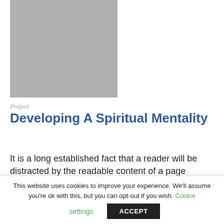[Figure (photo): Gray placeholder image rectangle]
Project
Developing A Spiritual Mentality
It is a long established fact that a reader will be distracted by the readable content of a page
This website uses cookies to improve your experience. We'll assume you're ok with this, but you can opt-out if you wish. Cookie settings ACCEPT